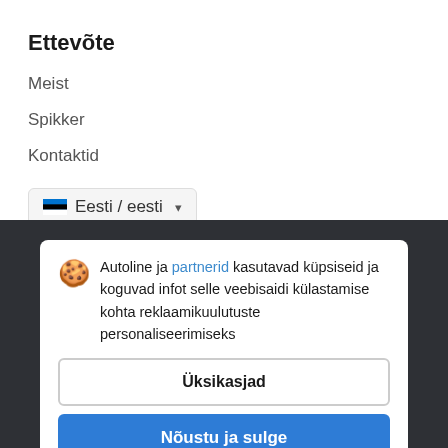Ettevõte
Meist
Spikker
Kontaktid
Eesti / eesti
Meie projektid
Autoline ja partnerid kasutavad küpsiseid ja koguvad infot selle veebisaidi külastamise kohta reklaamikuulutuste personaliseerimiseks
Üksikasjad
Nõustu ja sulge
Toimingud